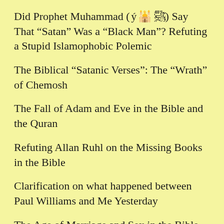Did Prophet Muhammad (ﷺ) Say That “Satan” Was a “Black Man”? Refuting a Stupid Islamophobic Polemic
The Biblical “Satanic Verses”: The “Wrath” of Chemosh
The Fall of Adam and Eve in the Bible and the Quran
Refuting Allan Ruhl on the Missing Books in the Bible
Clarification on what happened between Paul Williams and Me Yesterday
The Age of Marriage and Sex in the Bible